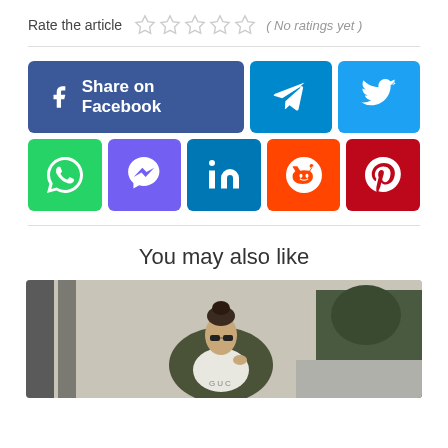Rate the article ★★★★★ ( No ratings yet )
[Figure (infographic): Social media share buttons: Share on Facebook (large blue), Telegram (teal), Twitter (blue), WhatsApp (green), Viber (purple), LinkedIn (blue), Reddit (orange), Pinterest (red)]
You may also like
[Figure (photo): Woman in sunglasses and olive jacket standing outdoors near pillars and plants]